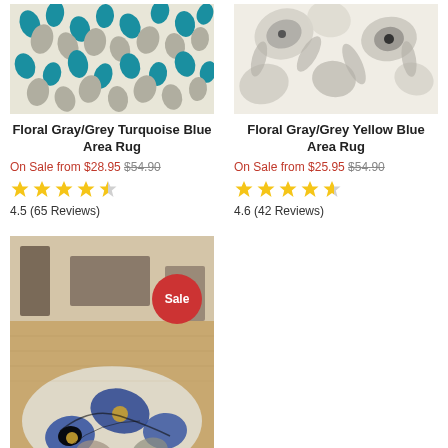[Figure (photo): Floral Gray/Grey Turquoise Blue Area Rug product image]
Floral Gray/Grey Turquoise Blue Area Rug
On Sale from $28.95 $54.90
4.5 (65 Reviews)
[Figure (photo): Floral Gray/Grey Yellow Blue Area Rug product image]
Floral Gray/Grey Yellow Blue Area Rug
On Sale from $25.95 $54.90
4.6 (42 Reviews)
[Figure (photo): Floral area rug with blue and yellow flower pattern, shown in room setting, with Sale badge]